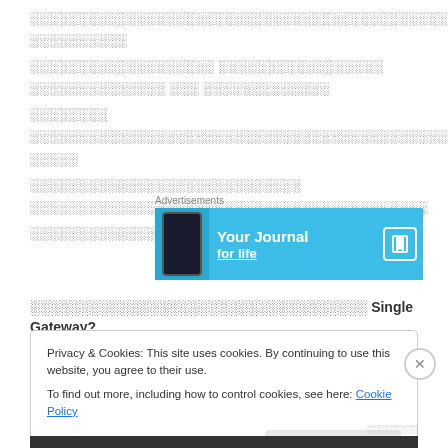Thai script text paragraph (redacted/blurred in original)
[Figure (photo): Advertisement banner with light blue background showing 'Your Journal for life' text with a phone image on the left and a bookmark icon on the right]
Thai script text Single Gateway?
Privacy & Cookies: This site uses cookies. By continuing to use this website, you agree to their use.
To find out more, including how to control cookies, see here: Cookie Policy
Close and accept